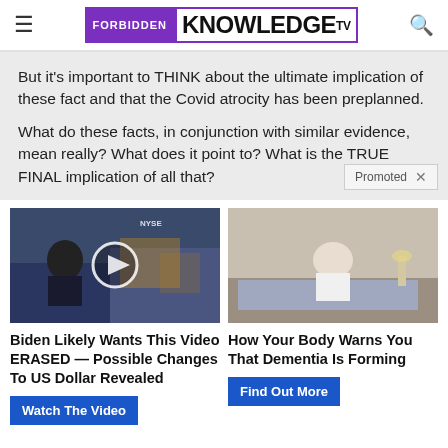FORBIDDEN KNOWLEDGE TV
But it's important to THINK about the ultimate implication of these fact and that the Covid atrocity has been preplanned.
What do these facts, in conjunction with similar evidence, mean really? What does it point to? What is the TRUE FINAL implication of all that?
[Figure (photo): Thumbnail of a man in a suit on a TV studio set with NYSE background, with a play button overlay]
Biden Likely Wants This Video ERASED — Possible Changes To US Dollar Revealed
Watch The Video
[Figure (photo): Photo of an elderly person sitting on a bed hunched over, appearing unwell]
How Your Body Warns You That Dementia Is Forming
Find Out More